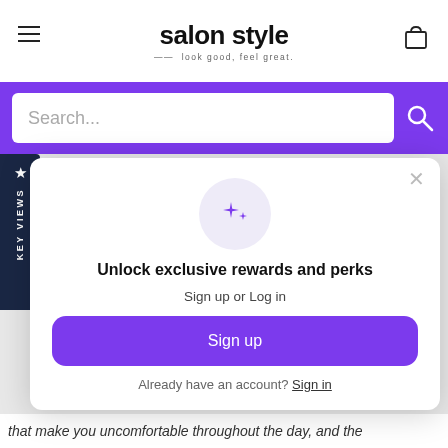salon style — look good, feel great.
[Figure (screenshot): Purple search bar with text input field showing 'Search...' placeholder and a search icon on the right]
[Figure (screenshot): Side tab with star icon and vertical text 'KEY VIEWS' on dark navy background]
[Figure (screenshot): Modal popup: sparkle icon in circle, title 'Unlock exclusive rewards and perks', subtitle 'Sign up or Log in', purple 'Sign up' button, 'Already have an account? Sign in' link, and X close button]
that make you uncomfortable throughout the day, and the